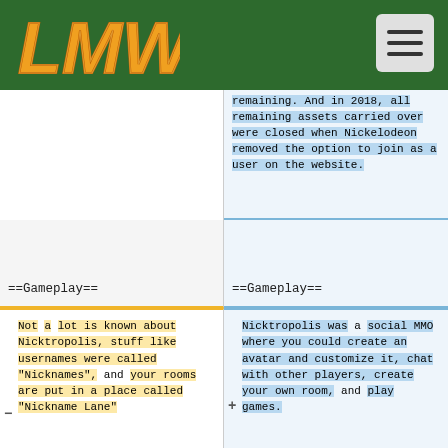LMW logo and navigation header
remaining. And in 2018, all remaining assets carried over were closed when Nickelodeon removed the option to join as a user on the website.
==Gameplay==
==Gameplay==
Not a lot is known about Nicktropolis, stuff like usernames were called "Nicknames", and your rooms are put in a place called "Nickname Lane"
Nicktropolis was a social MMO where you could create an avatar and customize it, chat with other players, create your own room, and play games.